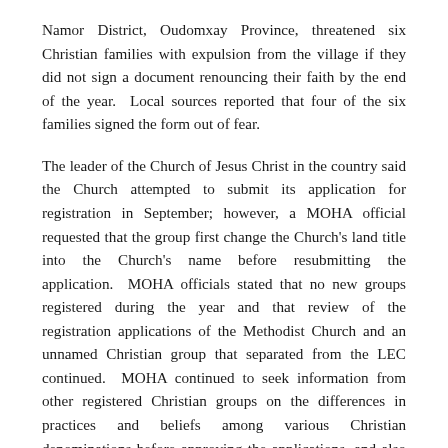Namor District, Oudomxay Province, threatened six Christian families with expulsion from the village if they did not sign a document renouncing their faith by the end of the year.  Local sources reported that four of the six families signed the form out of fear.
The leader of the Church of Jesus Christ in the country said the Church attempted to submit its application for registration in September; however, a MOHA official requested that the group first change the Church's land title into the Church's name before resubmitting the application.  MOHA officials stated that no new groups registered during the year and that review of the registration applications of the Methodist Church and an unnamed Christian group that separated from the LEC continued.  MOHA continued to seek information from other registered Christian groups on the differences in practices and beliefs among various Christian denominations before approving the applications, and also required applicants to submit their formal constitutions.  Several religious groups